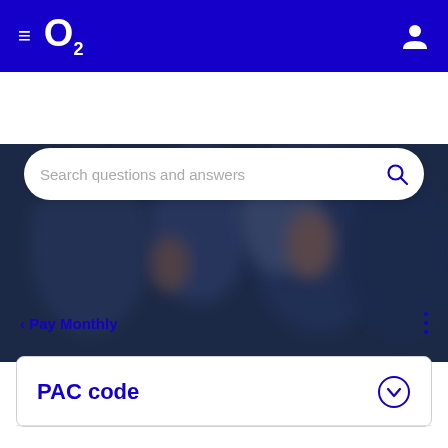O2 header navigation with hamburger menu and user icon
[Figure (photo): Blurred background photo of people in a crowd, dark blue toned overlay]
Search questions and answers
< Pay Monthly
PAC code